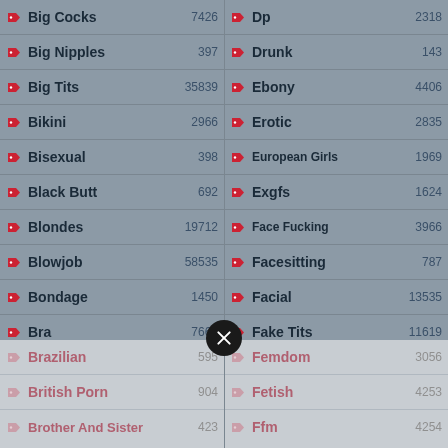| Category | Count | Category | Count |
| --- | --- | --- | --- |
| Big Cocks | 7426 | Dp | 2318 |
| Big Nipples | 397 | Drunk | 143 |
| Big Tits | 35839 | Ebony | 4406 |
| Bikini | 2966 | Erotic | 2835 |
| Bisexual | 398 | European Girls | 1969 |
| Black Butt | 692 | Exgfs | 1624 |
| Blondes | 19712 | Face Fucking | 3966 |
| Blowjob | 58535 | Facesitting | 787 |
| Bondage | 1450 | Facial | 13535 |
| Bra | 7660 | Fake Tits | 11619 |
| Brazilian | 595 | Femdom | 3056 |
| British Porn | 904 | Fetish | 4253 |
| Brother And Sister | 423 | Ffm | 4254 |